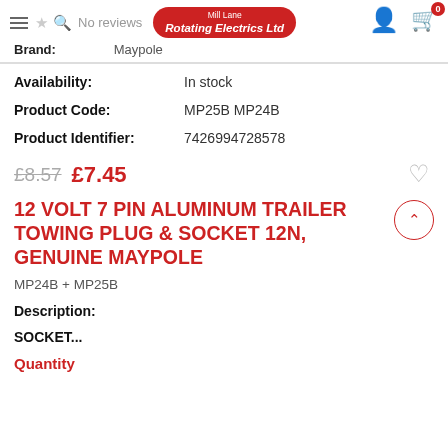No reviews | Rotating Electrics Ltd | Brand: Maypole
Availability: In stock
Product Code: MP25B MP24B
Product Identifier: 7426994728578
£8.57  £7.45
12 VOLT 7 PIN ALUMINUM TRAILER TOWING PLUG & SOCKET 12N, GENUINE MAYPOLE
MP24B + MP25B
Description:
SOCKET...
Quantity